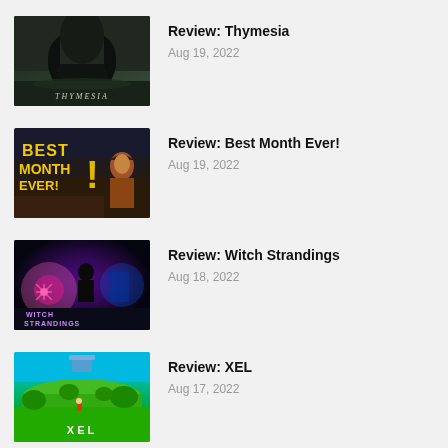[Figure (screenshot): Thymesia game cover art showing a dark cloaked figure with the word THYMESIA at bottom]
Review: Thymesia
Aug 19, 2022
[Figure (screenshot): Best Month Ever! game cover showing a woman and colorful text BEST MONTH EVER!]
Review: Best Month Ever!
Aug 19, 2022
[Figure (screenshot): Witch Strandings game cover showing a silhouetted figure with glowing lights and WITCH STRANDINGS text]
Review: Witch Strandings
Aug 18, 2022
[Figure (screenshot): XEL game cover showing a green fantasy world with a character and XEL text]
Review: XEL
Aug 17, 2022